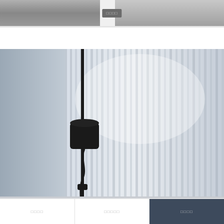[Figure (photo): Top portion of a product photo showing what appears to be a metal surface or furniture piece in gray tones, with a small gray label tag centered at the bottom reading redacted text]
[Figure (photo): Floor lamp with a black cylindrical shade mounted on a thin black pole, photographed against a background of vertical ribbed light gray panels or curtains]
[Figure (other): Bottom navigation bar with three buttons: two white buttons with gray text on left and center, one dark navy button with light text on right]